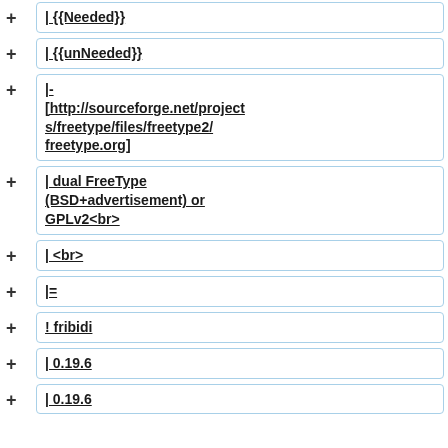+ | {{Needed}}
+ | {{unNeeded}}
+ |- [http://sourceforge.net/projects/freetype/files/freetype2/ freetype.org]
+ | dual FreeType (BSD+advertisement) or GPLv2<br>
+ | <br>
+ |=
+ ! fribidi
+ | 0.19.6
+ | 0.19.6